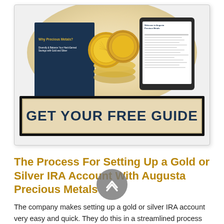[Figure (photo): Promotional image showing a dark navy booklet titled 'Why Precious Metals?', gold coins, and a tablet displaying 'Welcome to Augusta Precious Metals', all arranged on a beige oval background. Below is a large banner button reading 'GET YOUR FREE GUIDE' in dark navy bold text on a tan/cream background with black border.]
The Process For Setting Up a Gold or Silver IRA Account With Augusta Precious Metals
The company makes setting up a gold or silver IRA account very easy and quick. They do this in a streamlined process that involves experts in all